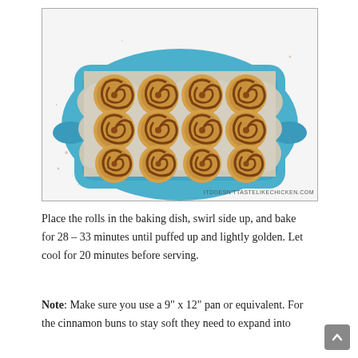[Figure (photo): Top-down view of 12 unbaked cinnamon rolls arranged in a blue ceramic baking dish lined with parchment paper. The rolls show spiral swirl pattern on top. Watermark reads ITDOESN'TTASTELIKECHICKEN.COM]
Place the rolls in the baking dish, swirl side up, and bake for 28 – 33 minutes until puffed up and lightly golden. Let cool for 20 minutes before serving.
Note: Make sure you use a 9" x 12" pan or equivalent. For the cinnamon buns to stay soft they need to expand into